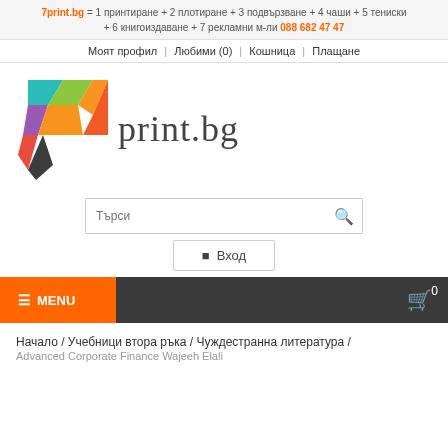7print.bg = 1 принтиране + 2 плотиране + 3 подвързване + 4 чаши + 5 тениски + 6 книгоиздаване + 7 рекламни м-ли 088 682 47 47
Моят профил | Любими (0) | Кошница | Плащане
[Figure (logo): 7print.bg logo with colorful 7 shape and stylized text]
Търси
Вход
MENU
Начало / Учебници втора ръка / Чуждестранна литература / Advanced Corporate Finance Wajeeh Elali